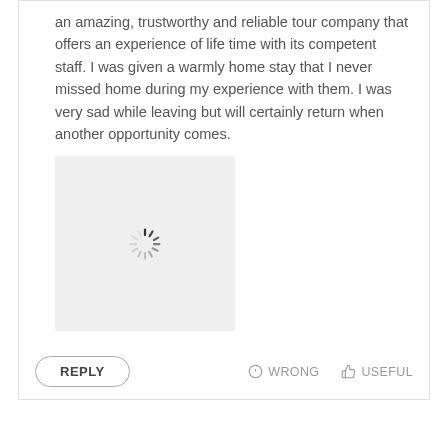an amazing, trustworthy and reliable tour company that offers an experience of life time with its competent staff. I was given a warmly home stay that I never missed home during my experience with them. I was very sad while leaving but will certainly return when another opportunity comes.
[Figure (photo): Loading spinner / image placeholder with a gray background and a spinning loader icon in the center]
REPLY
WRONG   USEFUL